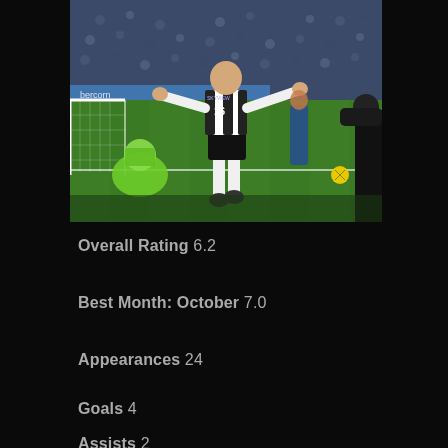[Figure (photo): A football player in black and white striped jersey celebrating a goal on a football pitch, with a goalkeeper in green sitting on the ground near the goal post. Crowd visible in background.]
Overall Rating 6.2
Best Month: October 7.0
Appearances 24
Goals 4
Assists 2